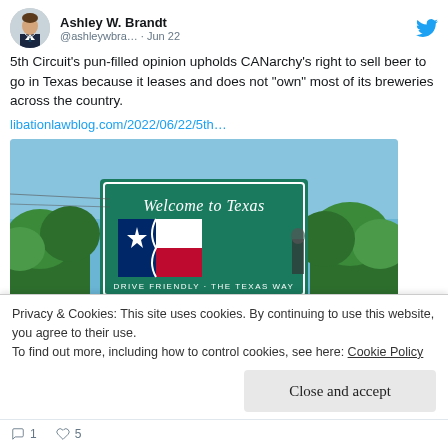Ashley W. Brandt @ashleywbra… · Jun 22
5th Circuit's pun-filled opinion upholds CANarchy's right to sell beer to go in Texas because it leases and does not "own" most of its breweries across the country.
libationlawblog.com/2022/06/22/5th…
[Figure (photo): Green Welcome to Texas road sign reading 'Welcome to Texas' with Texas flag image and text 'DRIVE FRIENDLY - THE TEXAS WAY', surrounded by trees]
Privacy & Cookies: This site uses cookies. By continuing to use this website, you agree to their use.
To find out more, including how to control cookies, see here: Cookie Policy
Close and accept